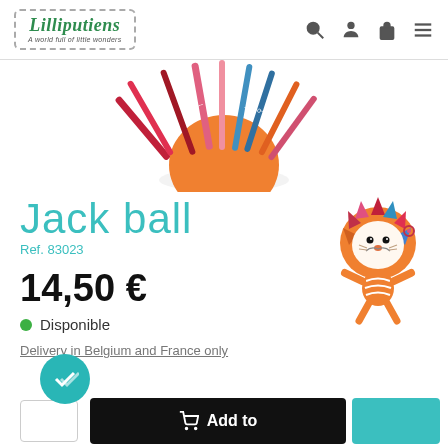Lilliputiens — A world full of little wonders (navigation header with search, account, bag, menu icons)
[Figure (photo): Top portion of a colorful fabric jack ball toy with multicolored ribbon strips (red, pink, blue, orange) fanning outward against a white background]
Jack ball
Ref. 83023
14,50 €
Disponible
Delivery in Belgium and France only
[Figure (illustration): Cartoon illustration of a small orange lion character with colorful spiked mane (red, pink, blue), white face with smile markings, wearing a striped shirt, with arms and legs spread out]
Add to (cart button, partially visible at bottom)